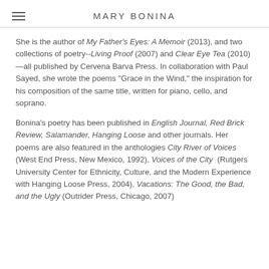MARY BONINA
She is the author of My Father's Eyes: A Memoir (2013), and two collections of poetry--Living Proof (2007) and Clear Eye Tea (2010)—all published by Cervena Barva Press. In collaboration with Paul Sayed, she wrote the poems "Grace in the Wind," the inspiration for his composition of the same title, written for piano, cello, and soprano.
Bonina's poetry has been published in English Journal, Red Brick Review, Salamander, Hanging Loose and other journals. Her poems are also featured in the anthologies City River of Voices (West End Press, New Mexico, 1992), Voices of the City (Rutgers University Center for Ethnicity, Culture, and the Modern Experience with Hanging Loose Press, 2004), Vacations: The Good, the Bad, and the Ugly (Outrider Press, Chicago, 2007)